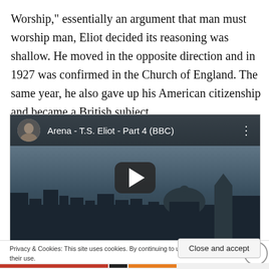Worship," essentially an argument that man must worship man, Eliot decided its reasoning was shallow. He moved in the opposite direction and in 1927 was confirmed in the Church of England. The same year, he also gave up his American citizenship and became a British subject.
[Figure (screenshot): YouTube video thumbnail for 'Arena - T.S. Eliot - Part 4 (BBC)' showing a cityscape silhouette with a play button in the center. The top bar shows a circular avatar, the video title, and a three-dot menu icon.]
Privacy & Cookies: This site uses cookies. By continuing to use this website, you agree to their use.
To find out more, including how to control cookies, see here: Cookie Policy